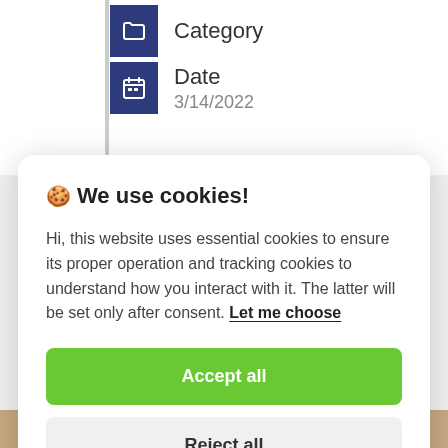Category
Date
3/14/2022
🍪 We use cookies!
Hi, this website uses essential cookies to ensure its proper operation and tracking cookies to understand how you interact with it. The latter will be set only after consent. Let me choose
Accept all
Reject all
most popular stories